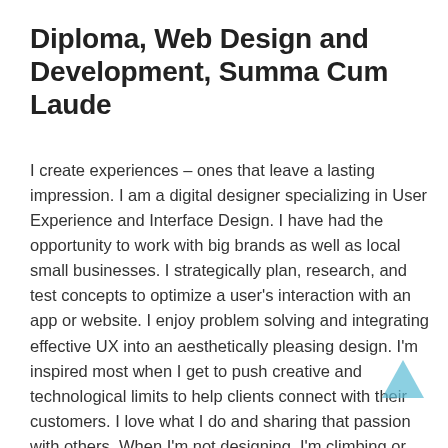Diploma, Web Design and Development, Summa Cum Laude
I create experiences – ones that leave a lasting impression. I am a digital designer specializing in User Experience and Interface Design. I have had the opportunity to work with big brands as well as local small businesses. I strategically plan, research, and test concepts to optimize a user's interaction with an app or website. I enjoy problem solving and integrating effective UX into an aesthetically pleasing design. I'm inspired most when I get to push creative and technological limits to help clients connect with their customers. I love what I do and sharing that passion with others. When I'm not designing, I'm climbing or riding around the world and taking photos along the way – rock, snow, ice, surf, silks. If it requires a board or movement upwards, I'm there.